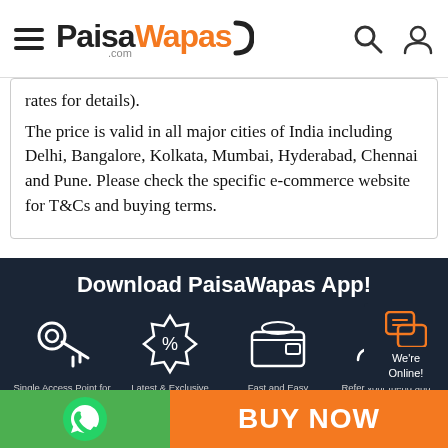[Figure (logo): PaisaWapas.com logo with hamburger menu, search icon, and user icon in header]
rates for details).
The price is valid in all major cities of India including Delhi, Bangalore, Kolkata, Mumbai, Hyderabad, Chennai and Pune. Please check the specific e-commerce website for T&Cs and buying terms.
[Figure (infographic): Download PaisaWapas App section with dark background showing four features: Single Access Point for All Online Stores, Latest & Exclusive Offers & Deals for You, Fast and Easy Cashback Experience, Refer your friend and Earn Money. Below is a Google Play download button.]
[Figure (infographic): Bottom bar with WhatsApp icon on green background on left, BUY NOW text on orange background in center, and We're Online chat widget on right]